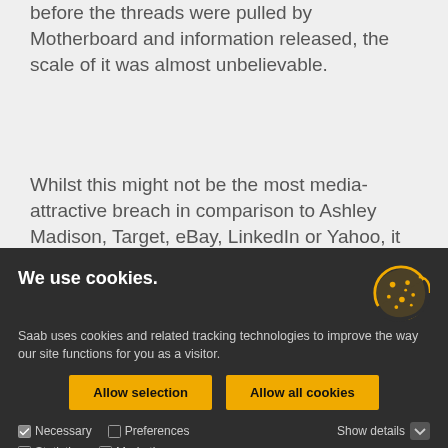before the threads were pulled by Motherboard and information released, the scale of it was almost unbelievable.
Whilst this might not be the most media-attractive breach in comparison to Ashley Madison, Target, eBay, LinkedIn or Yahoo, it undoubtedly has the furthest reaching impact", says Marc.
Anyone who has undergone a security clearance will
We use cookies.
Saab uses cookies and related tracking technologies to improve the way our site functions for you as a visitor.
[Figure (illustration): Cookie icon - circular cookie with bite taken out, decorated with dots, in yellow/gold color on dark background]
Allow selection
Allow all cookies
Necessary  Preferences  Statistics  Marketing  Show details